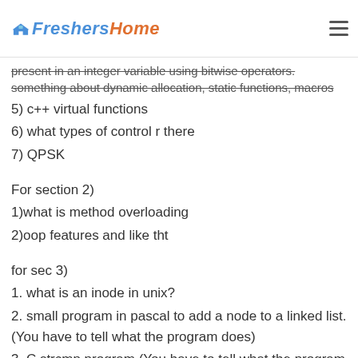FreshersHome
present in an integer variable using bitwise operators. something about dynamic allocation, static functions, macros
5) c++ virtual functions
6) what types of control r there
7) QPSK
For section 2)
1)what is method overloading
2)oop features and like tht
for sec 3)
1. what is an inode in unix?
2. small program in pascal to add a node to a linked list. (You have to tell what the program does)
3. C strcmp program (You have to tell what the program